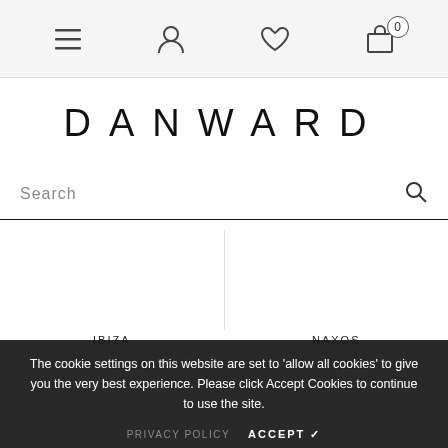Navigation bar with hamburger menu, user icon, heart/wishlist icon, and shopping bag with 0 items
DANWARD
Search
[Figure (screenshot): Two product columns: left shows IBIZA product (BLUE TAILORED MID-LENGTH SWI) with price £127.00 struck through and £102.00; right shows NAXOS product (BLUE LYCRA BRIEF) with price £65.00 struck through and £51.00]
The cookie settings on this website are set to 'allow all cookies' to give you the very best experience. Please click Accept Cookies to continue to use the site.
PRIVACY POLICY   ACCEPT ✓